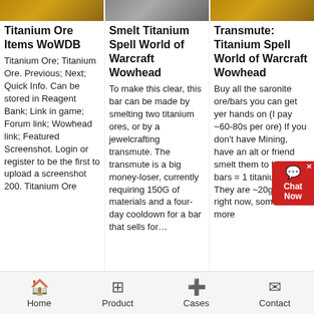[Figure (photo): Three thumbnail images of mining/ore related content at the top]
Titanium Ore Items WoWDB
Titanium Ore; Titanium Ore. Previous; Next; Quick Info. Can be stored in Reagent Bank; Link in game; Forum link; Wowhead link; Featured Screenshot. Login or register to be the first to upload a screenshot 200. Titanium Ore
Smelt Titanium Spell World of Warcraft Wowhead
To make this clear, this bar can be made by smelting two titanium ores, or by a jewelcrafting transmute. The transmute is a big money-loser, currently requiring 150G of materials and a four-day cooldown for a bar that sells for...
Transmute: Titanium Spell World of Warcraft Wowhead
Buy all the saronite ore/bars you can get yer hands on (I pay ~60-80s per ore) If you don't have Mining, have an alt or friend smelt them to bars; 8 bars = 1 titanium bar. They are ~20g a pop right now, sometimes more
Home   Product   Cases   Contact